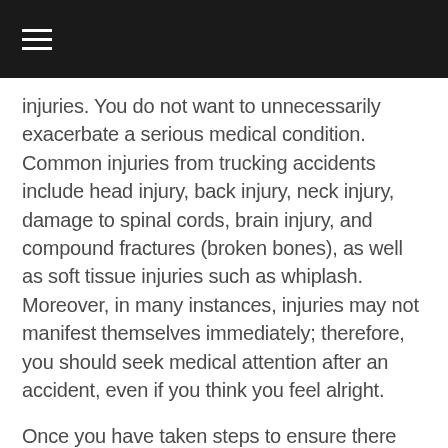≡
injuries. You do not want to unnecessarily exacerbate a serious medical condition. Common injuries from trucking accidents include head injury, back injury, neck injury, damage to spinal cords, brain injury, and compound fractures (broken bones), as well as soft tissue injuries such as whiplash. Moreover, in many instances, injuries may not manifest themselves immediately; therefore, you should seek medical attention after an accident, even if you think you feel alright.
Once you have taken steps to ensure there are no health risks, you should report the trucking accident by calling the police. Be sure to note the name of